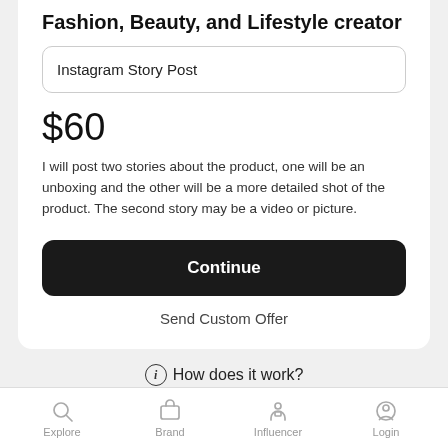Fashion, Beauty, and Lifestyle creator
Instagram Story Post
$60
I will post two stories about the product, one will be an unboxing and the other will be a more detailed shot of the product. The second story may be a video or picture.
Continue
Send Custom Offer
ⓘ How does it work?
Explore  Brand  Influencer  Login